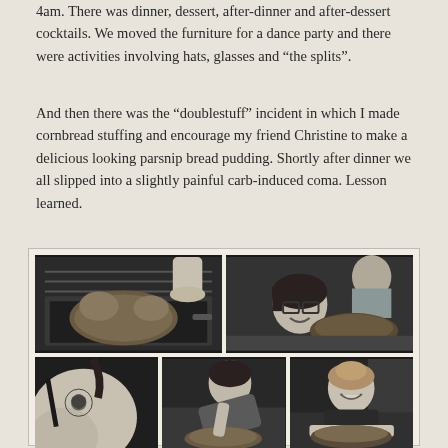4am. There was dinner, dessert, after-dinner and after-dessert cocktails. We moved the furniture for a dance party and there were activities involving hats, glasses and “the splits”.
And then there was the “doublestuff” incident in which I made cornbread stuffing and encourage my friend Christine to make a delicious looking parsnip bread pudding. Shortly after dinner we all slipped into a slightly painful carb-induced coma. Lesson learned.
[Figure (photo): A 2x2 grid of black and white photographs: top-left shows a turkey or chicken being removed from an oven roasting pan; top-right shows a woman with glasses smiling next to a roasted bird and a man in background; bottom-left shows a close-up of a person's shoulder/arm with a tattoo; bottom-middle shows a woman leaning over food; bottom-right shows a smiling woman holding a dish.]